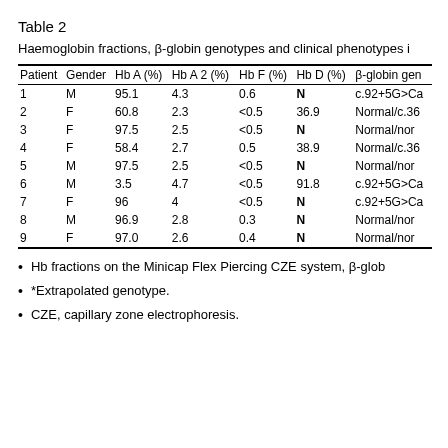Table 2
Haemoglobin fractions, β-globin genotypes and clinical phenotypes i
| Patient | Gender | Hb A (%) | Hb A 2 (%) | Hb F (%) | Hb D (%) | β-globin gen |
| --- | --- | --- | --- | --- | --- | --- |
| 1 | M | 95.1 | 4.3 | 0.6 | N | c.92+5G>Ca |
| 2 | F | 60.8 | 2.3 | <0.5 | 36.9 | Normal/c.36 |
| 3 | F | 97.5 | 2.5 | <0.5 | N | Normal/nor |
| 4 | F | 58.4 | 2.7 | 0.5 | 38.9 | Normal/c.36 |
| 5 | M | 97.5 | 2.5 | <0.5 | N | Normal/nor |
| 6 | M | 3.5 | 4.7 | <0.5 | 91.8 | c.92+5G>Ca |
| 7 | F | 96 | 4 | <0.5 | N | c.92+5G>Ca |
| 8 | M | 96.9 | 2.8 | 0.3 | N | Normal/nor |
| 9 | F | 97.0 | 2.6 | 0.4 | N | Normal/nor |
Hb fractions on the Minicap Flex Piercing CZE system, β-glob
*Extrapolated genotype.
CZE, capillary zone electrophoresis.